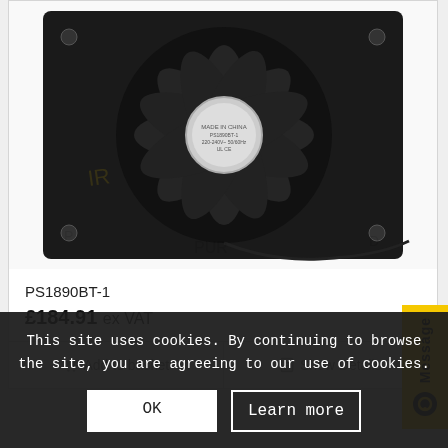[Figure (photo): Black axial cooling fan with mounting frame, viewed from above, showing fan blades, motor hub with certification labels.]
PS1890BT-1
£184.91 ex VAT
Add to basket
Show Details
[Figure (photo): Partial view of a second black axial cooling fan, circular, viewed from front.]
This site uses cookies. By continuing to browse the site, you are agreeing to our use of cookies.
OK
Learn more